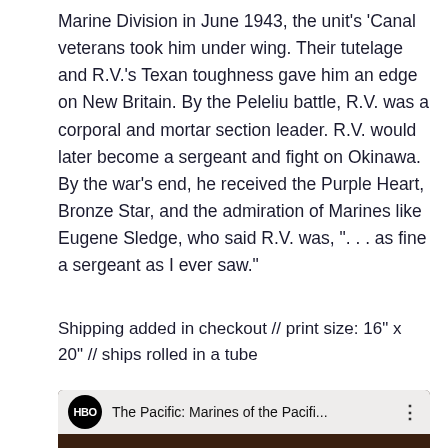Marine Division in June 1943, the unit's 'Canal veterans took him under wing. Their tutelage and R.V.'s Texan toughness gave him an edge on New Britain. By the Peleliu battle, R.V. was a corporal and mortar section leader. R.V. would later become a sergeant and fight on Okinawa. By the war's end, he received the Purple Heart, Bronze Star, and the admiration of Marines like Eugene Sledge, who said R.V. was, ". . . as fine a sergeant as I ever saw."
Shipping added in checkout // print size: 16" x 20" // ships rolled in a tube
[Figure (screenshot): YouTube video thumbnail showing HBO's 'The Pacific: Marines of the Pacifi...' with a black and white crowd scene and a red play button overlay.]